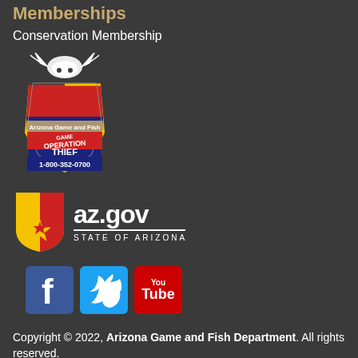Memberships
Conservation Membership
[Figure (logo): Arizona Game and Fish - Operation Game Thief logo with deer skull, Arizona state shape, red/gold/blue colors, phone number 1-800-352-0700]
[Figure (logo): az.gov State of Arizona logo with Arizona flag shield and star]
[Figure (logo): Social media icons: Facebook (blue), Twitter (light blue), YouTube (red)]
Copyright © 2022, Arizona Game and Fish Department. All rights reserved.
Privacy Policy   Terms of Use   Site Map